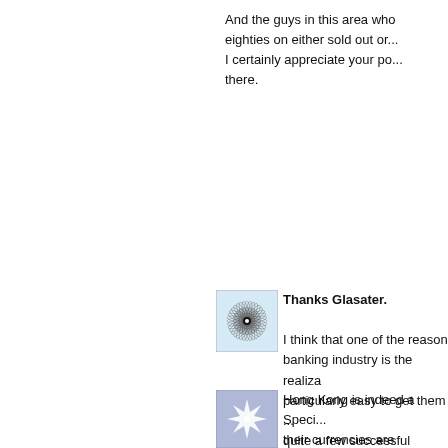And the guys in this area who worked in banks in the eighties on either sold out or... I certainly appreciate your pointing that out there.
[Figure (illustration): User avatar showing a spirograph/geometric circular pattern on light blue background]
Thanks Glasater.

I think that one of the reasons... banking industry is the realiza... particularly easy to get them... quite a few successful produ... programs for years. They we... type operations. I know sever... the late 90's, when Clintoon d... suicide not to play.
[Figure (illustration): User avatar showing a geometric snowflake/star pattern on blue-grey background]
Hong Kong is indeed a Speci... their currencies are separate... has, or at least had, a much s...